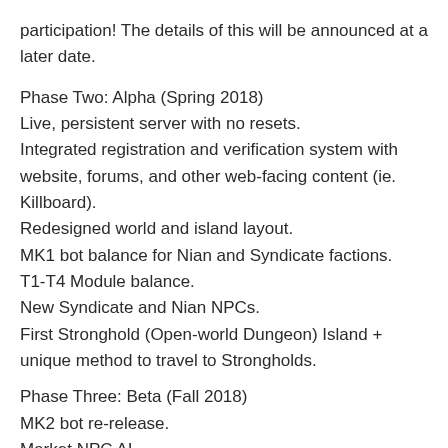participation! The details of this will be announced at a later date.
Phase Two: Alpha (Spring 2018)
Live, persistent server with no resets.
Integrated registration and verification system with website, forums, and other web-facing content (ie. Killboard).
Redesigned world and island layout.
MK1 bot balance for Nian and Syndicate factions.
T1-T4 Module balance.
New Syndicate and Nian NPCs.
First Stronghold (Open-world Dungeon) Island + unique method to travel to Strongholds.
Phase Three: Beta (Fall 2018)
MK2 bot re-release.
Market NPC AI
More Stronghold Islands
New sparks